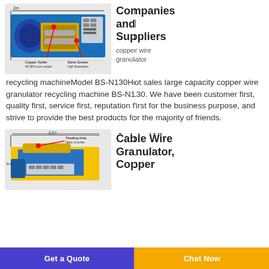[Figure (photo): Industrial copper wire granulator recycling machine with labeled parts: Copper Outlet (99.99% pure copper) and Sieve Screen high separation, with red arrows pointing to components.]
Companies and Suppliers
copper wire granulator recycling machineModel BS-N130Hot sales large capacity copper wire granulator recycling machine BS-N130. We have been customer first, quality first, service first, reputation first for the business purpose, and strive to provide the best products for the majority of friends.
[Figure (photo): Cable wire granulator machine diagram showing 2.0m width, Feeding Hole, Main crusher labeled with red arrows.]
Cable Wire Granulator, Copper
Get a Quote   Chat Now